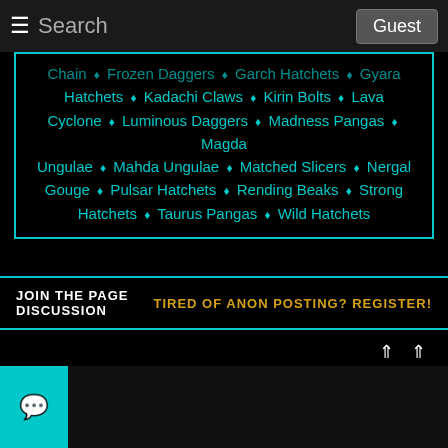☰ Search  Guest
Chain ♦ Frozen Daggers ♦ Garch Hatchets ♦ Gyara Hatchets ♦ Kadachi Claws ♦ Kirin Bolts ♦ Lava Cyclone ♦ Luminous Daggers ♦ Madness Pangas ♦ Magda Ungulae ♦ Mahda Ungulae ♦ Matched Slicers ♦ Nergal Gouge ♦ Pulsar Hatchets ♦ Rending Beaks ♦ Strong Hatchets ♦ Taurus Pangas ♦ Wild Hatchets
JOIN THE PAGE DISCUSSION
TIRED OF ANON POSTING? REGISTER!